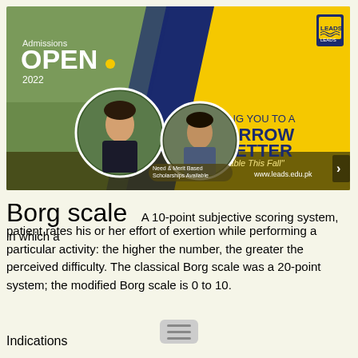[Figure (illustration): University admissions banner for LEADS university. Dark olive/khaki overlay strip at bottom. Yellow and navy blue design with campus photo background showing students walking. Two circular portrait photos of students (female studying, male reading). Text reads: 'Admissions OPEN 2022', 'LEADING YOU TO A TOMORROW BETTER', 'Seats Available This Fall', 'Need & Merit Based Scholarships Available', 'www.leads.edu.pk'. LEADS university shield logo top right.]
Borg scale
A 10-point subjective scoring system, in which a patient rates his or her effort of exertion while performing a particular activity: the higher the number, the greater the perceived difficulty. The classical Borg scale was a 20-point system; the modified Borg scale is 0 to 10.
Indications